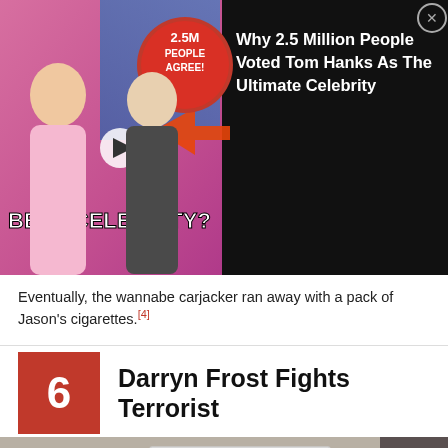[Figure (other): Advertisement banner: left side shows promotional image with two people and text 'BEST CELEBRITY?' and '2.5M PEOPLE AGREE!'. Right side on black background reads 'Why 2.5 Million People Voted Tom Hanks As The Ultimate Celebrity' with a close (X) button.]
Eventually, the wannabe carjacker ran away with a pack of Jason's cigarettes.[4]
6  Darryn Frost Fights Terrorist
[Figure (photo): A news photo showing a scene with a callout label: 'Members of public who helped tackle Khan'. People are visible in a public space.]